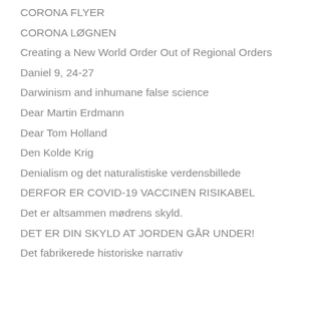CORONA FLYER
CORONA LØGNEN
Creating a New World Order Out of Regional Orders
Daniel 9, 24-27
Darwinism and inhumane false science
Dear Martin Erdmann
Dear Tom Holland
Den Kolde Krig
Denialism og det naturalistiske verdensbillede
DERFOR ER COVID-19 VACCINEN RISIKABEL
Det er altsammen mødrens skyld.
DET ER DIN SKYLD AT JORDEN GÅR UNDER!
Det fabrikerede historiske narrativ